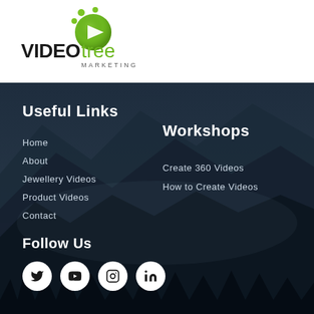[Figure (logo): VideoTree Marketing logo with green play button icon and dots above text]
Useful Links
Home
About
Jewellery Videos
Product Videos
Contact
Workshops
Create 360 Videos
How to Create Videos
Follow Us
[Figure (illustration): Social media icons: Twitter, YouTube, Instagram, LinkedIn - white circles with dark icons]